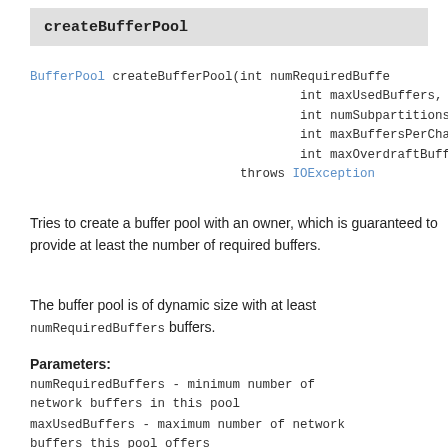createBufferPool
BufferPool createBufferPool(int numRequiredBuffers,
                                    int maxUsedBuffers,
                                    int numSubpartitions,
                                    int maxBuffersPerChannel,
                                    int maxOverdraftBuffers)
                             throws IOException
Tries to create a buffer pool with an owner, which is guaranteed to provide at least the number of required buffers.
The buffer pool is of dynamic size with at least numRequiredBuffers buffers.
Parameters:
numRequiredBuffers - minimum number of network buffers in this pool
maxUsedBuffers - maximum number of network buffers this pool offers